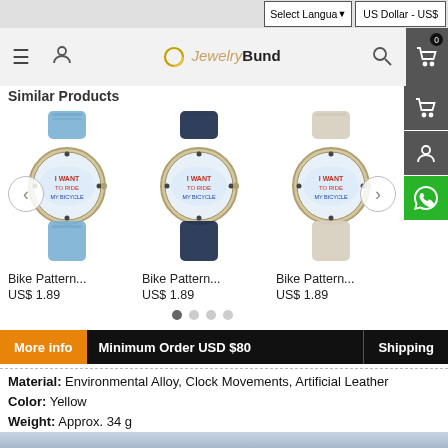Select Language  US Dollar - US$
[Figure (logo): JewelryBund website navigation bar with hamburger menu, user icon, JewelryBund logo, search icon, and shopping cart]
Similar Products
[Figure (photo): Three bike pattern watches shown side by side - blue denim band, navy band, and beige/cream band variants]
Bike Pattern...
US$ 1.89
Bike Pattern...
US$ 1.89
Bike Pattern...
US$ 1.89
More info  Minimum Order USD $80  Shipping
Material: Environmental Alloy, Clock Movements, Artificial Leather
Color: Yellow
Weight: Approx. 34 g